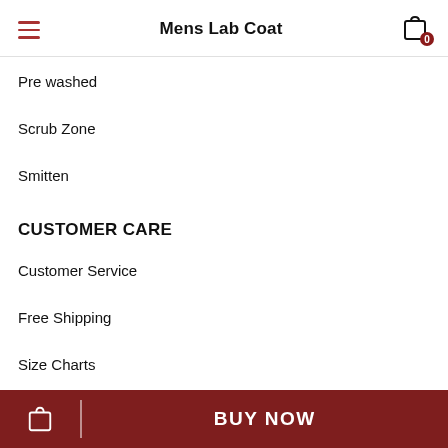Mens Lab Coat
Pre washed
Scrub Zone
Smitten
CUSTOMER CARE
Customer Service
Free Shipping
Size Charts
Website Designed and Powered by Thummas Corporation. All Rights Reserved.
BUY NOW